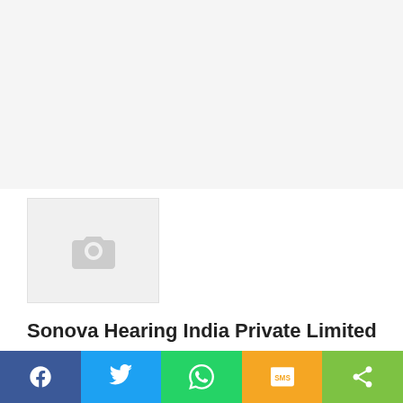[Figure (photo): Light grey placeholder area at top of page]
[Figure (photo): Image placeholder with camera icon, grey background]
Sonova Hearing India Private Limited
[Figure (infographic): Share bar with Facebook, Twitter, WhatsApp, SMS, and More buttons]